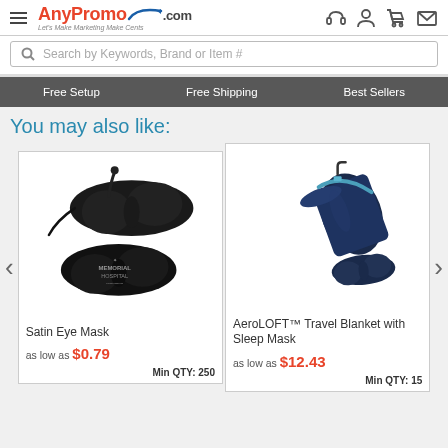[Figure (logo): AnyPromo.com logo with hamburger menu and header icons (headphones, person, cart, mail)]
Search by Keywords, Brand or Item #
Free Setup   Free Shipping   Best Sellers
You may also like:
[Figure (photo): Two black satin eye masks, one plain and one branded with Memorial Hospital logo]
Satin Eye Mask
as low as $0.79
Min QTY: 250
[Figure (photo): Navy blue AeroLOFT travel blanket in cylindrical carrying case with attached sleep mask]
AeroLOFT™ Travel Blanket with Sleep Mask
as low as $12.43
Min QTY: 15